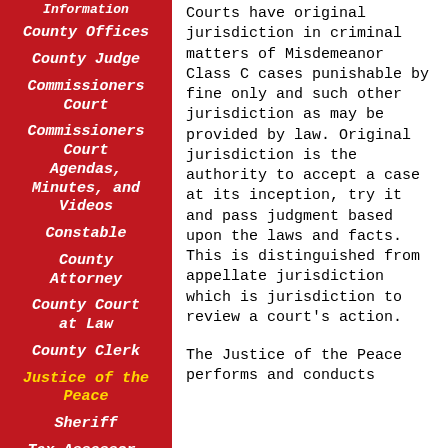Information
County Offices
County Judge
Commissioners Court
Commissioners Court Agendas, Minutes, and Videos
Constable
County Attorney
County Court at Law
County Clerk
Justice of the Peace
Sheriff
Tax Assessor-
Courts have original jurisdiction in criminal matters of Misdemeanor Class C cases punishable by fine only and such other jurisdiction as may be provided by law. Original jurisdiction is the authority to accept a case at its inception, try it and pass judgment based upon the laws and facts. This is distinguished from appellate jurisdiction which is jurisdiction to review a court's action.
The Justice of the Peace performs and conducts